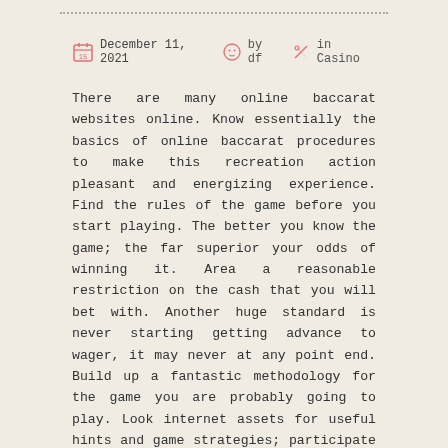December 11, 2021  by df  in Casino
There are many online baccarat websites online. Know essentially the basics of online baccarat procedures to make this recreation action pleasant and energizing experience. Find the rules of the game before you start playing. The better you know the game; the far superior your odds of winning it. Area a reasonable restriction on the cash that you will bet with. Another huge standard is never starting getting advance to wager, it may never at any point end. Build up a fantastic methodology for the game you are probably going to play. Look internet assets for useful hints and game strategies; participate in online baccarat online gatherings where you can get from more prepared players. Recollect the popular articulation fools gain from their